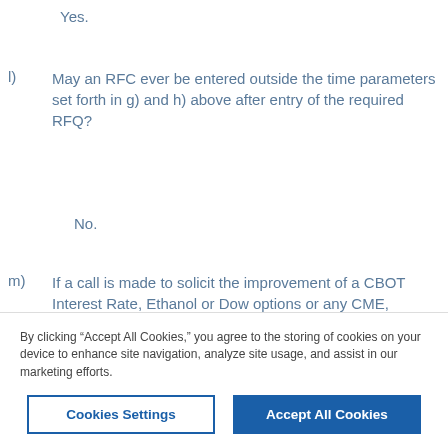Yes.
l)  May an RFC ever be entered outside the time parameters set forth in g) and h) above after entry of the required RFQ?
No.
m)  If a call is made to solicit the improvement of a CBOT Interest Rate, Ethanol or Dow options or any CME, NYMEX or COMEX options market posted on CME Globex, must an RFQ be entered prior to making the call…
By clicking “Accept All Cookies,” you agree to the storing of cookies on your device to enhance site navigation, analyze site usage, and assist in our marketing efforts.